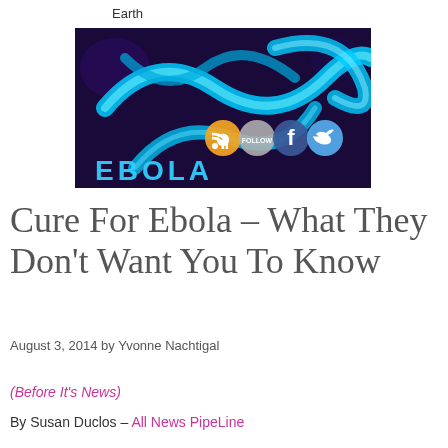Earth
[Figure (photo): Blue glowing Ebola virus filaments with social media icons (RSS, Follow, Facebook, Twitter) overlaid and EBOLA text at bottom]
Cure For Ebola – What They Don't Want You To Know
August 3, 2014 by Yvonne Nachtigal
(Before It's News)
By Susan Duclos – All News PipeLine